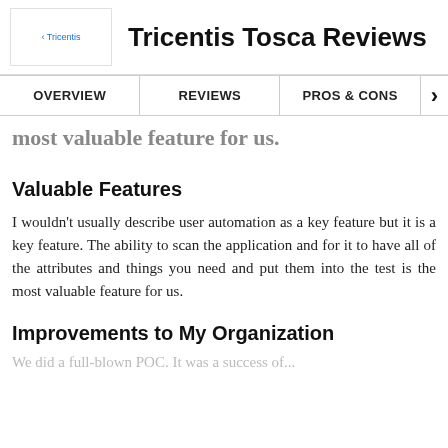Tricentis Tosca Reviews
OVERVIEW   REVIEWS   PROS & CONS
most valuable feature for us.
Valuable Features
I wouldn't usually describe user automation as a key feature but it is a key feature. The ability to scan the application and for it to have all of the attributes and things you need and put them into the test is the most valuable feature for us.
Improvements to My Organization
We did a full-blown POC. It was a success of...